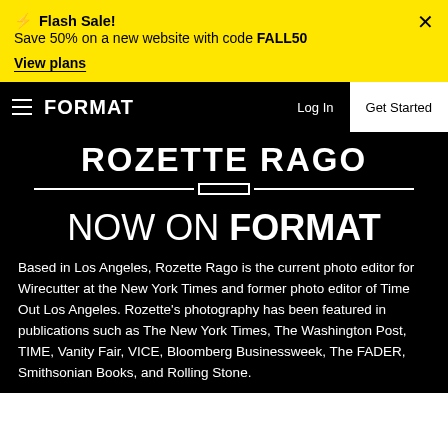⚡ Flash Sale! Save 50% on a new website with code FALL50
View plans
FORMAT | Log In | Get Started
ROZETTE RAGO
NOW ON FORMAT
Based in Los Angeles, Rozette Rago is the current photo editor for Wirecutter at the New York Times and former photo editor of Time Out Los Angeles. Rozette's photography has been featured in publications such as The New York Times, The Washington Post, TIME, Vanity Fair, VICE, Bloomberg Businessweek, The FADER, Smithsonian Books, and Rolling Stone.